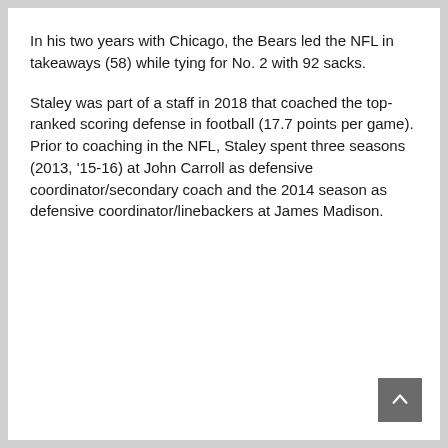In his two years with Chicago, the Bears led the NFL in takeaways (58) while tying for No. 2 with 92 sacks.
Staley was part of a staff in 2018 that coached the top-ranked scoring defense in football (17.7 points per game). Prior to coaching in the NFL, Staley spent three seasons (2013, '15-16) at John Carroll as defensive coordinator/secondary coach and the 2014 season as defensive coordinator/linebackers at James Madison.